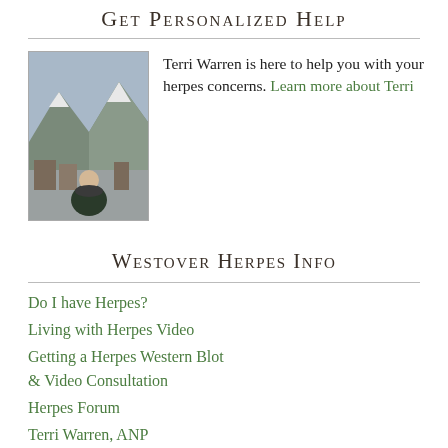Get Personalized Help
Terri Warren is here to help you with your herpes concerns. Learn more about Terri
Westover Herpes Info
Do I have Herpes?
Living with Herpes Video
Getting a Herpes Western Blot & Video Consultation
Herpes Forum
Terri Warren, ANP